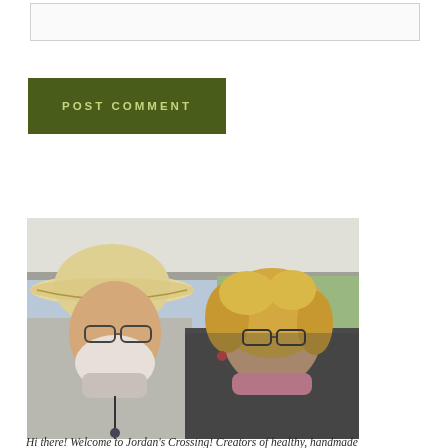[comment input box]
POST COMMENT
[Figure (photo): Two people posing under a canopy tent at an outdoor market. The man on the left wears a wide-brimmed straw cowboy hat, glasses, a grey shirt, and a neck gaiter pulled down. The woman on the right has curly blonde hair, glasses, a grey jacket, and a pink bandana around her neck. A building and parked cars are visible in the background.]
Hi there! Welcome to Jordan's Crossing! Creators of healthy, handmade